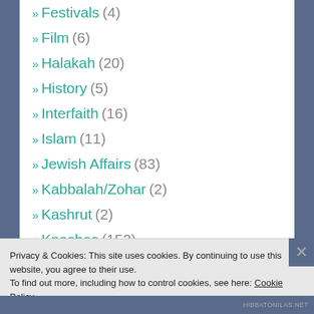» Festivals (4)
» Film (6)
» Halakah (20)
» History (5)
» Interfaith (16)
» Islam (11)
» Jewish Affairs (83)
» Kabbalah/Zohar (2)
» Kashrut (2)
» Knoshes (152)
» Media (1)
Privacy & Cookies: This site uses cookies. By continuing to use this website, you agree to their use. To find out more, including how to control cookies, see here: Cookie Policy